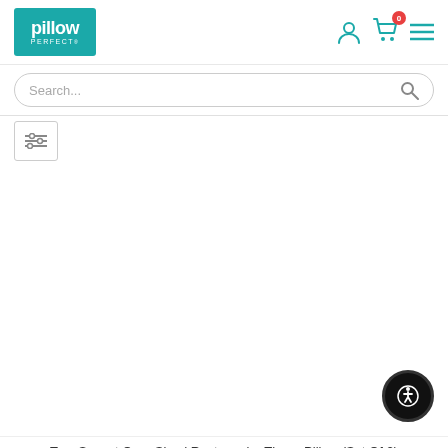[Figure (logo): Pillow Perfect logo — teal/turquoise rectangle with white text 'pillow PERFECT']
[Figure (screenshot): Header navigation icons: user/account icon, shopping cart with badge showing 0, hamburger menu icon]
[Figure (screenshot): Search bar with placeholder text 'Search...' and magnifying glass icon]
[Figure (screenshot): Filter/sliders icon button in a bordered box]
[Figure (screenshot): Accessibility button (wheelchair icon) in bottom right corner, black circle]
Tory Sunset Over-Sized Rectangular Throw Pillow (Set Of 2)